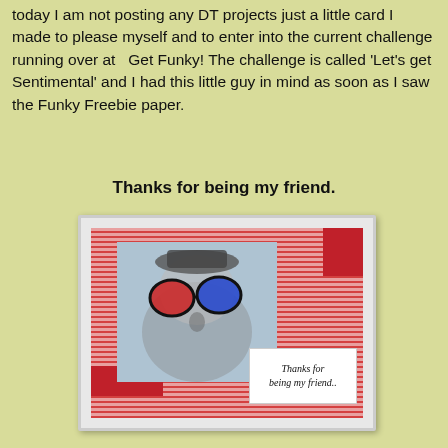today I am not posting any DT projects just a little card I made to please myself and to enter into the current challenge running over at   Get Funky! The challenge is called 'Let's get Sentimental' and I had this little guy in mind as soon as I saw the Funky Freebie paper.
Thanks for being my friend.
[Figure (photo): A handmade greeting card featuring a character wearing large colorful glasses (one red, one blue lens) on a striped red and white paper background with red polka dot accents. A white sentiment tag reads 'Thanks for being my friend..']